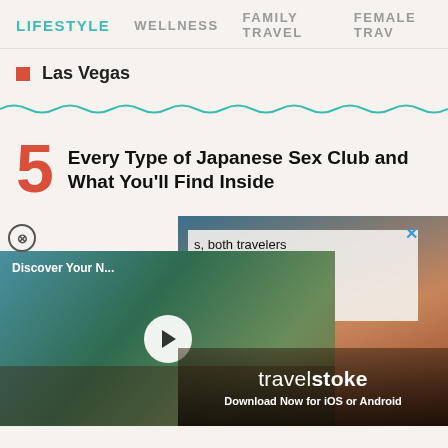LIFESTYLE  WELLNESS  FAMILY TRAVEL  FEMALE TRAV
Las Vegas
5  Every Type of Japanese Sex Club and What You'll Find Inside
[Figure (screenshot): Advertisement overlay with video thumbnail showing 'Discover Your N...' and travelstoke app promotion with text 's, both travelers wherever you the world with new app.' and 'travelstoke Download Now for iOS or Android']